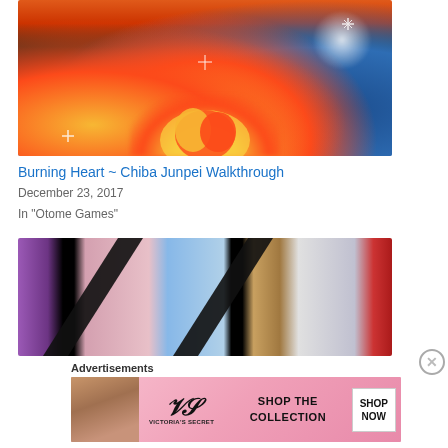[Figure (illustration): Anime-style illustration of firefighter characters in uniform with flames in the center and sparkle effects, orange and blue color scheme]
Burning Heart ~ Chiba Junpei Walkthrough
December 23, 2017
In "Otome Games"
[Figure (illustration): Composite anime-style illustration showing multiple characters from otome games, divided by black triangle/diamond shapes, with purple, pink, blue and grey backgrounds]
Advertisements
[Figure (illustration): Victoria's Secret advertisement banner with a woman's photo on the left, VS logo in center, 'SHOP THE COLLECTION' text, and a 'SHOP NOW' button on the right, pink gradient background]